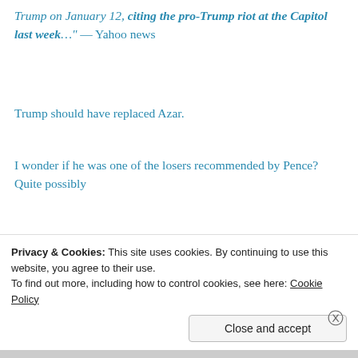Trump on January 12, citing the pro-Trump riot at the Capitol last week…" — Yahoo news
Trump should have replaced Azar.
I wonder if he was one of the losers recommended by Pence? Quite possibly
….9. He has ties to Vice President Mike Pence
Eli Lilly is based in Indiana, the home state of Pence.
Privacy & Cookies: This site uses cookies. By continuing to use this website, you agree to their use.
To find out more, including how to control cookies, see here: Cookie Policy
Close and accept